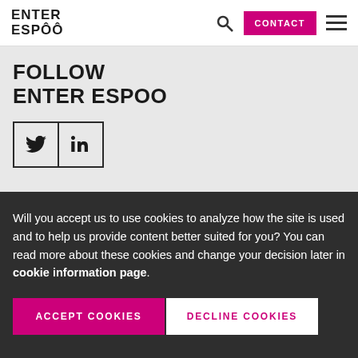ENTER ESPOO — CONTACT — navigation header
FOLLOW ENTER ESPOO
[Figure (other): Social media icons: Twitter (bird icon) and LinkedIn (in) in bordered square boxes]
Will you accept us to use cookies to analyze how the site is used and to help us provide content better suited for you? You can read more about these cookies and change your decision later in cookie information page.
ACCEPT COOKIES | DECLINE COOKIES